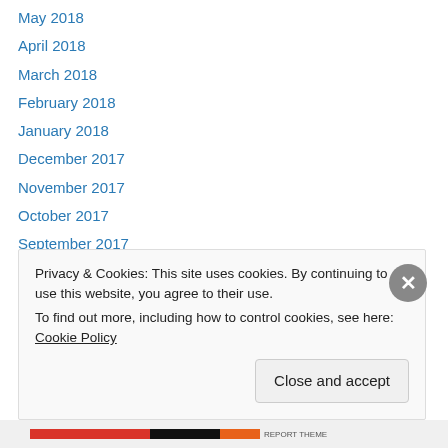May 2018
April 2018
March 2018
February 2018
January 2018
December 2017
November 2017
October 2017
September 2017
August 2017
April 2017
February 2017
January 2017
Privacy & Cookies: This site uses cookies. By continuing to use this website, you agree to their use. To find out more, including how to control cookies, see here: Cookie Policy